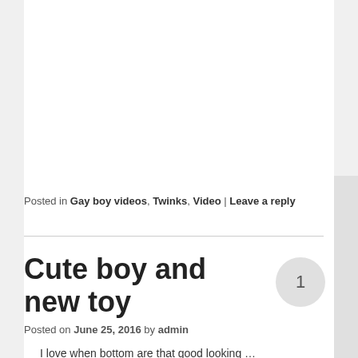Posted in Gay boy videos, Twinks, Video | Leave a reply
Cute boy and new toy
Posted on June 25, 2016 by admin
I love when bottom are that good looking …